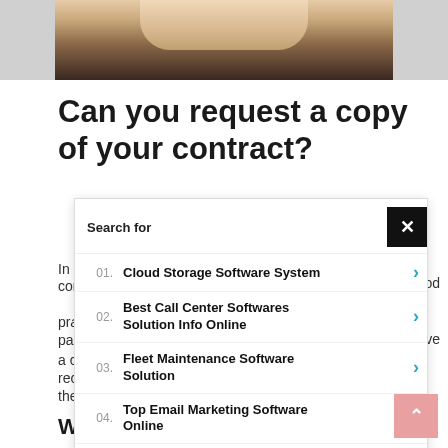[Figure (photo): Partial photo of a person with long blonde hair and dark clothing, cropped to show only the lower face and shoulders area]
Can you request a copy of your contract?
In [partially obscured] ... con ... od pra ... pa ... ve a c ... rec ... the ...
[Figure (screenshot): Yahoo Search sponsored ad overlay showing Search for panel with 5 results: 01. Cloud Storage Software System, 02. Best Call Center Softwares Solution Info Online, 03. Fleet Maintenance Software Solution, 04. Top Email Marketing Software Online, 05. HVAC Program Costs. Footer shows Yahoo! Search | Sponsored]
W[partially obscured]